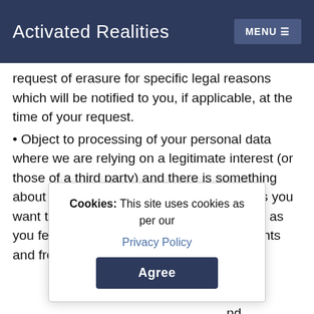Activated Realities | MENU
request of erasure for specific legal reasons which will be notified to you, if applicable, at the time of your request.
• Object to processing of your personal data where we are relying on a legitimate interest (or those of a third party) and there is something about your particular situation which makes you want to object to processing on this ground as you feel it impacts on your fundamental rights and freedoms. In some cases, we may demonstrate we have compelling legitimate grounds to process your information which override your rights and freedoms.
• Request restriction of processing of your personal
Cookies: This site uses cookies as per our Privacy Policy
Agree